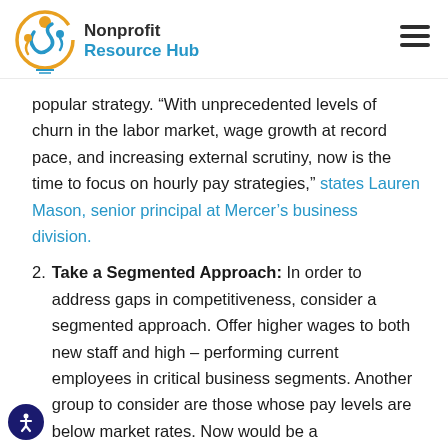Nonprofit Resource Hub
popular strategy. “With unprecedented levels of churn in the labor market, wage growth at record pace, and increasing external scrutiny, now is the time to focus on hourly pay strategies,” states Lauren Mason, senior principal at Mercer’s business division.
2. Take a Segmented Approach: In order to address gaps in competitiveness, consider a segmented approach. Offer higher wages to both new staff and high – performing current employees in critical business segments. Another group to consider are those whose pay levels are below market rates. Now would be a